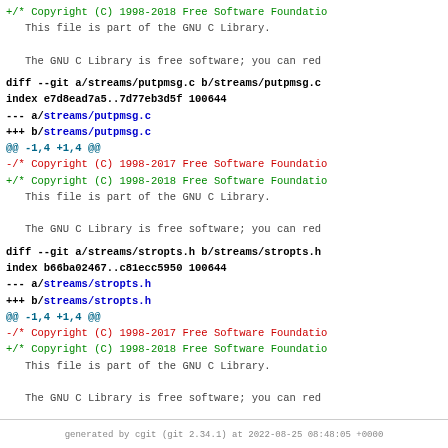+/* Copyright (C) 1998-2018 Free Software Foundation...
   This file is part of the GNU C Library.

   The GNU C Library is free software; you can red...
diff --git a/streams/putpmsg.c b/streams/putpmsg.c
index e7d8ead7a5..7d77eb3d5f 100644
--- a/streams/putpmsg.c
+++ b/streams/putpmsg.c
@@ -1,4 +1,4 @@
-/* Copyright (C) 1998-2017 Free Software Foundation...
+/* Copyright (C) 1998-2018 Free Software Foundation...
   This file is part of the GNU C Library.

   The GNU C Library is free software; you can red...
diff --git a/streams/stropts.h b/streams/stropts.h
index b66ba02467..c81ecc5950 100644
--- a/streams/stropts.h
+++ b/streams/stropts.h
@@ -1,4 +1,4 @@
-/* Copyright (C) 1998-2017 Free Software Foundation...
+/* Copyright (C) 1998-2018 Free Software Foundation...
   This file is part of the GNU C Library.

   The GNU C Library is free software; you can red...
generated by cgit (git 2.34.1) at 2022-08-25 08:48:05 +0000